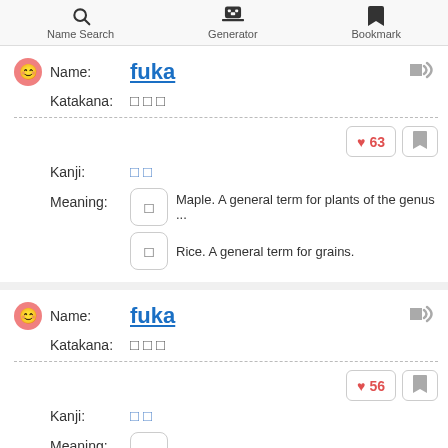Name Search | Generator | Bookmark
Name: fuka | Katakana: □□□
Kanji: □□ | ♥ 63 | Meaning: □ Maple. A general term for plants of the genus ... | □ Rice. A general term for grains.
Name: fuka | Katakana: □□□
Kanji: □□ | ♥ 56